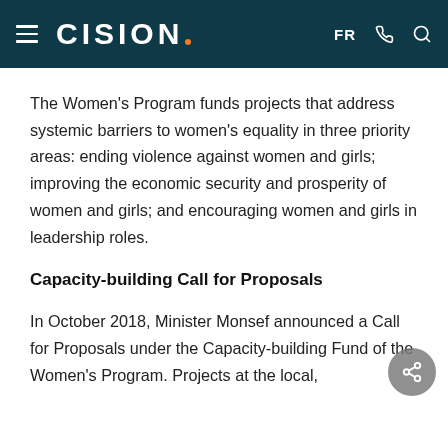CISION · FR
The Women's Program funds projects that address systemic barriers to women's equality in three priority areas: ending violence against women and girls; improving the economic security and prosperity of women and girls; and encouraging women and girls in leadership roles.
Capacity-building Call for Proposals
In October 2018, Minister Monsef announced a Call for Proposals under the Capacity-building Fund of the Women's Program. Projects at the local,